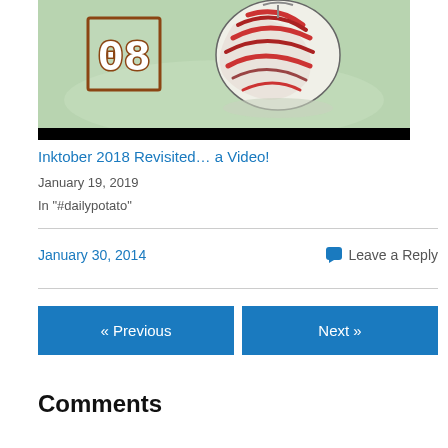[Figure (illustration): Blog post thumbnail image showing an illustrated garlic bulb with red and white swirling colors on a green background, with the number '08' displayed in outlined block letters on the left side. The image has a black border/background.]
Inktober 2018 Revisited… a Video!
January 19, 2019
In "#dailypotato"
January 30, 2014
Leave a Reply
« Previous
Next »
Comments